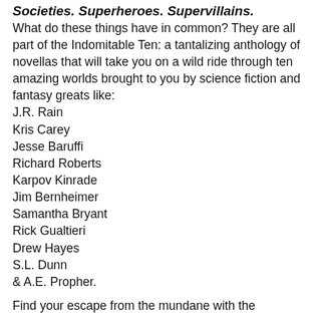Societies. Superheroes. Supervillains.
What do these things have in common? They are all part of the Indomitable Ten: a tantalizing anthology of novellas that will take you on a wild ride through ten amazing worlds brought to you by science fiction and fantasy greats like:
J.R. Rain
Kris Carey
Jesse Baruffi
Richard Roberts
Karpov Kinrade
Jim Bernheimer
Samantha Bryant
Rick Gualtieri
Drew Hayes
S.L. Dunn
& A.E. Propher.
Find your escape from the mundane with the Indomitable Ten!
Foreword by Tom Reynolds. Presented by Curiosity Quills